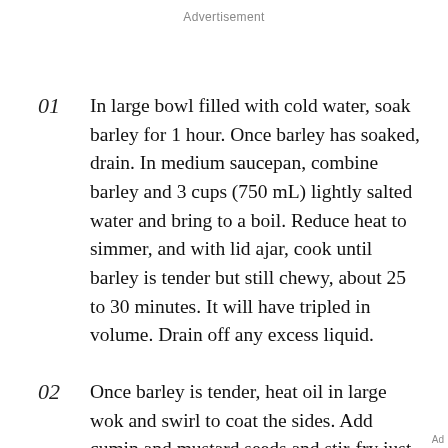Advertisement
01  In large bowl filled with cold water, soak barley for 1 hour. Once barley has soaked, drain. In medium saucepan, combine barley and 3 cups (750 mL) lightly salted water and bring to a boil. Reduce heat to simmer, and with lid ajar, cook until barley is tender but still chewy, about 25 to 30 minutes. It will have tripled in volume. Drain off any excess liquid.
02  Once barley is tender, heat oil in large wok and swirl to coat the sides. Add cumin and mustard seeds and stir-fry just until seeds begin to pop. Add onion, ginger, and seasonings, and stir-fry just until onion starts
Ad